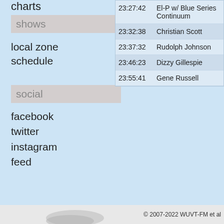charts
shows
local zone
schedule
social
facebook
twitter
instagram
feed
| Time | Artist/Show |
| --- | --- |
| 23:27:42 | El-P w/ Blue Series Continuum |
| 23:32:38 | Christian Scott |
| 23:37:32 | Rudolph Johnson |
| 23:46:23 | Dizzy Gillespie |
| 23:55:41 | Gene Russell |
© 2007-2022 WUVT-FM et al